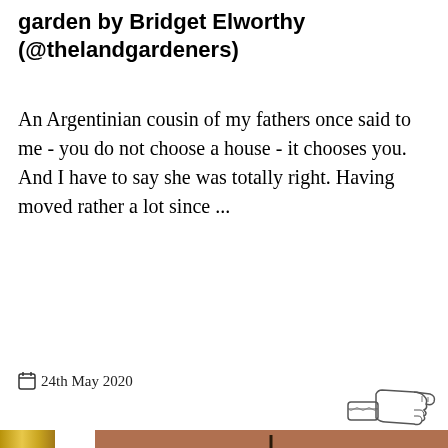garden by Bridget Elworthy (@thelandgardeners)
An Argentinian cousin of my fathers once said to me - you do not choose a house - it chooses you. And I have to say she was totally right. Having moved rather a lot since ...
24th May 2020
[Figure (photo): A decorative chandelier with ornate metalwork scrolls and crystal drops, photographed against a warm copper/brown background. On the left side is a gold picture frame edge and a white strip.]